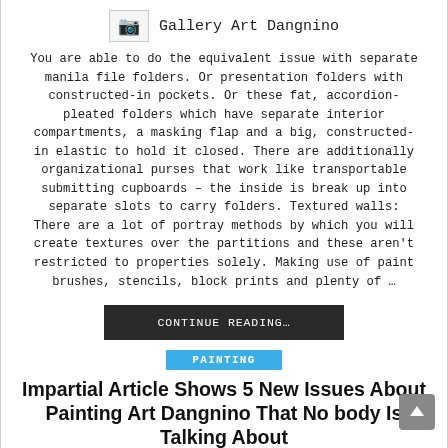Gallery Art Dangnino
You are able to do the equivalent issue with separate manila file folders. Or presentation folders with constructed-in pockets. Or these fat, accordion-pleated folders which have separate interior compartments, a masking flap and a big, constructed-in elastic to hold it closed. There are additionally organizational purses that work like transportable submitting cupboards – the inside is break up into separate slots to carry folders. Textured walls: There are a lot of portray methods by which you will create textures over the partitions and these aren't restricted to properties solely. Making use of paint brushes, stencils, block prints and plenty of …
CONTINUE READING…
PAINTING
Impartial Article Shows 5 New Issues About Painting Art Dangnino That No body Is Talking About
MAGGIE CHAN • NOVEMBER 24, 2021 • LEAVE A COMMENT